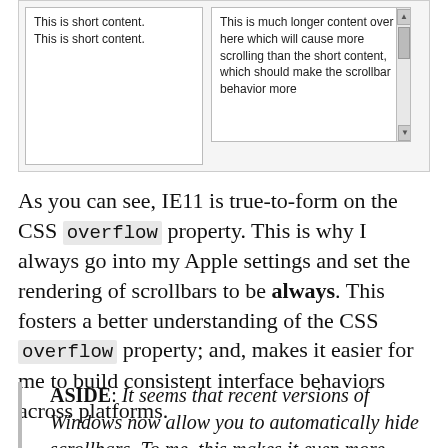[Figure (screenshot): Screenshot showing two side-by-side boxes. Left box contains 'This is short content. This is short content.' Right box contains longer text about scrolling behavior and has a vertical scrollbar on the right side.]
As you can see, IE11 is true-to-form on the CSS overflow property. This is why I always go into my Apple settings and set the rendering of scrollbars to be always. This fosters a better understanding of the CSS overflow property; and, makes it easier for me to build consistent interface behaviors across platforms.
ASIDE: It seems that recent versions of Windows now allow you to automatically hide scrollbars. To me, this makes it even more important